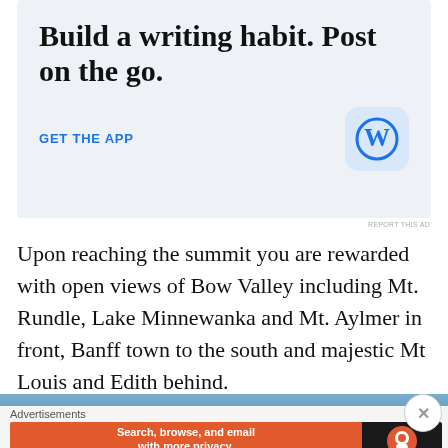[Figure (infographic): WordPress app advertisement with large text 'Build a writing habit. Post on the go.' and a 'GET THE APP' call-to-action link with WordPress logo icon on light blue background]
REPORT THIS AD
Upon reaching the summit you are rewarded with open views of Bow Valley including Mt. Rundle, Lake Minnewanka and Mt. Aylmer in front, Banff town to the south and majestic Mt Louis and Edith behind.
[Figure (photo): Partial mountain/sky landscape photo strip]
Advertisements
[Figure (infographic): DuckDuckGo advertisement: 'Search, browse, and email with more privacy. All in One Free App' on orange background with DuckDuckGo logo on dark background]